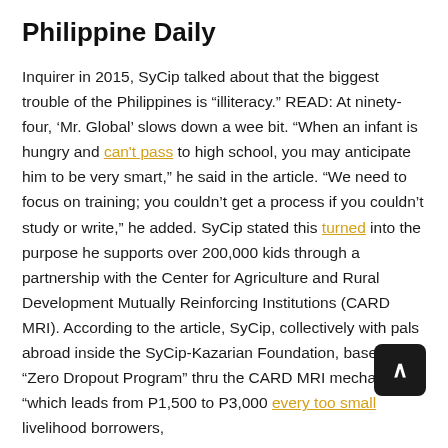Philippine Daily
Inquirer in 2015, SyCip talked about that the biggest trouble of the Philippines is “illiteracy.” READ: At ninety-four, ‘Mr. Global’ slows down a wee bit. “When an infant is hungry and can't pass to high school, you may anticipate him to be very smart,” he said in the article. “We need to focus on training; you couldn’t get a process if you couldn’t study or write,” he added. SyCip stated this turned into the purpose he supports over 200,000 kids through a partnership with the Center for Agriculture and Rural Development Mutually Reinforcing Institutions (CARD MRI). According to the article, SyCip, collectively with pals abroad inside the SyCip-Kazarian Foundation, based the “Zero Dropout Program” thru the CARD MRI mechanism, “which leads from P1,500 to P3,000 every too small livelihood borrowers,